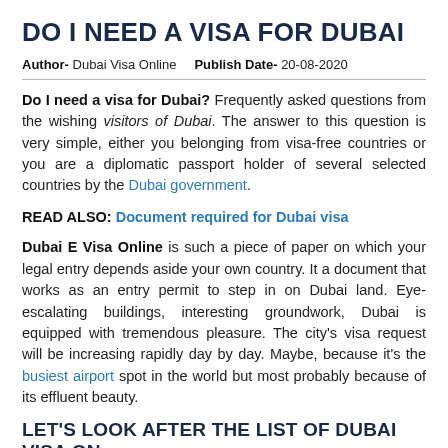DO I NEED A VISA FOR DUBAI
Author- Dubai Visa Online   Publish Date- 20-08-2020
Do I need a visa for Dubai? Frequently asked questions from the wishing visitors of Dubai. The answer to this question is very simple, either you belonging from visa-free countries or you are a diplomatic passport holder of several selected countries by the Dubai government.
READ ALSO: Document required for Dubai visa
Dubai E Visa Online is such a piece of paper on which your legal entry depends aside your own country. It a document that works as an entry permit to step in on Dubai land. Eye-escalating buildings, interesting groundwork, Dubai is equipped with tremendous pleasure. The city's visa request will be increasing rapidly day by day. Maybe, because it's the busiest airport spot in the world but most probably because of its effluent beauty.
LET'S LOOK AFTER THE LIST OF DUBAI VISA ON ARRIVAL COUNTRIES